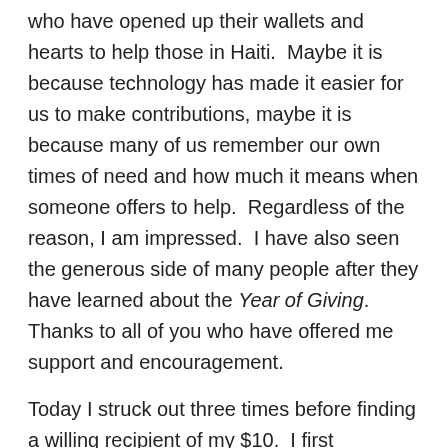who have opened up their wallets and hearts to help those in Haiti.  Maybe it is because technology has made it easier for us to make contributions, maybe it is because many of us remember our own times of need and how much it means when someone offers to help.  Regardless of the reason, I am impressed.  I have also seen the generous side of many people after they have learned about the Year of Giving.  Thanks to all of you who have offered me support and encouragement.
Today I struck out three times before finding a willing recipient of my $10.  I first approached a city worker.  There is an area of DC called the Golden Triangle.  That district has workers dawned in bright yellow vests whose job it is to help people find where they are going and keep the area clean and safe.  I doubt they get paid very well and they offer great service.  The first person I ...